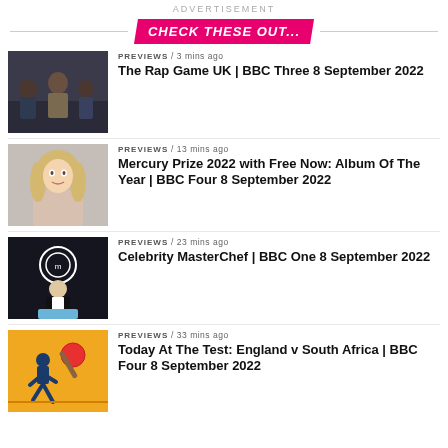ADVERTISEMENT
CHECK THESE OUT...
[Figure (photo): Three people standing together in dark clothing]
PREVIEWS / 3 mins ago
The Rap Game UK | BBC Three 8 September 2022
[Figure (photo): Blonde woman smiling, portrait style]
PREVIEWS / 13 mins ago
Mercury Prize 2022 with Free Now: Album Of The Year | BBC Four 8 September 2022
[Figure (photo): Man in a tuxedo on TV cooking show stage]
PREVIEWS / 23 mins ago
Celebrity MasterChef | BBC One 8 September 2022
[Figure (photo): Cricket themed illustration with yellow background]
PREVIEWS / 33 mins ago
Today At The Test: England v South Africa | BBC Four 8 September 2022